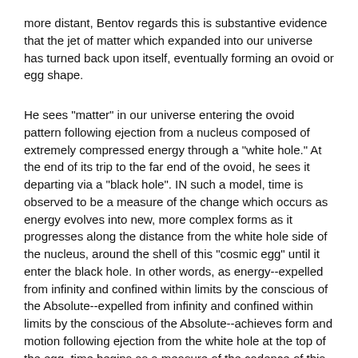more distant, Bentov regards this is substantive evidence that the jet of matter which expanded into our universe has turned back upon itself, eventually forming an ovoid or egg shape.
He sees "matter" in our universe entering the ovoid pattern following ejection from a nucleus composed of extremely compressed energy through a "white hole." At the end of its trip to the far end of the ovoid, he sees it departing via a "black hole". IN such a model, time is observed to be a measure of the change which occurs as energy evolves into new, more complex forms as it progresses along the distance from the white hole side of the nucleus, around the shell of this "cosmic egg" until it enter the black hole. In other words, as energy--expelled from infinity and confined within limits by the conscious of the Absolute--expelled from infinity and confined within limits by the conscious of the Absolute--achieves form and motion following ejection from the white hole at the top of the egg, time begins as a measure of the cadence of this evolutionary movement as "reality" goes around the shell of the egg on its journey to the black hole at the far end.